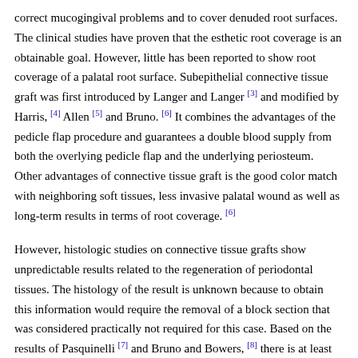correct mucogingival problems and to cover denuded root surfaces. The clinical studies have proven that the esthetic root coverage is an obtainable goal. However, little has been reported to show root coverage of a palatal root surface. Subepithelial connective tissue graft was first introduced by Langer and Langer [3] and modified by Harris, [4] Allen [5] and Bruno. [6] It combines the advantages of the pedicle flap procedure and guarantees a double blood supply from both the overlying pedicle flap and the underlying periosteum. Other advantages of connective tissue graft is the good color match with neighboring soft tissues, less invasive palatal wound as well as long-term results in terms of root coverage. [6]
However, histologic studies on connective tissue grafts show unpredictable results related to the regeneration of periodontal tissues. The histology of the result is unknown because to obtain this information would require the removal of a block section that was considered practically not required for this case. Based on the results of Pasquinelli [7] and Bruno and Bowers, [8] there is at least the possibility that some regeneration may have occurred. Contrary to this are the results of Harris, which suggest that regeneration may not have occurred. Clinically, the area appeared healthy. There was a 2 mm sulcus with no bleeding on probing.